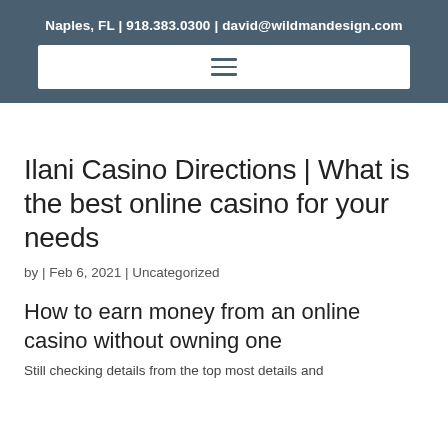Naples, FL | 918.383.0300 | david@wildmandesign.com
Ilani Casino Directions | What is the best online casino for your needs
by | Feb 6, 2021 | Uncategorized
How to earn money from an online casino without owning one
Still checking details from the top most details and...